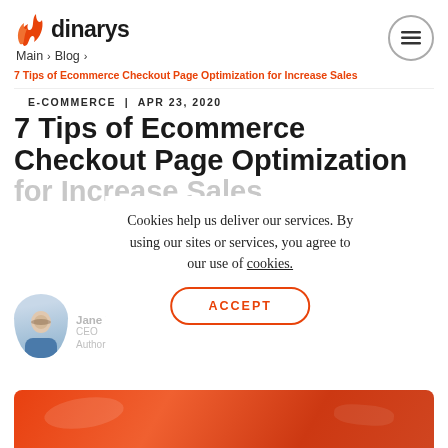dinarys | Main > Blog >
7 Tips of Ecommerce Checkout Page Optimization for Increase Sales
E-COMMERCE | APR 23, 2020
7 Tips of Ecommerce Checkout Page Optimization for Increase Sales
Jane Vyshnova
CEO
Author
Cookies help us deliver our services. By using our sites or services, you agree to our use of cookies.
ACCEPT
[Figure (photo): Bottom decorative image strip with red/orange gradient, partially visible vehicle]